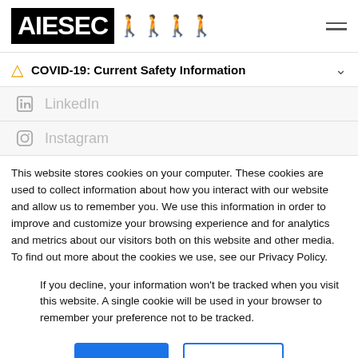[Figure (logo): AIESEC logo with stylized walking figures]
COVID-19: Current Safety Information
LinkedIn
Instagram
This website stores cookies on your computer. These cookies are used to collect information about how you interact with our website and allow us to remember you. We use this information in order to improve and customize your browsing experience and for analytics and metrics about our visitors both on this website and other media. To find out more about the cookies we use, see our Privacy Policy.
If you decline, your information won't be tracked when you visit this website. A single cookie will be used in your browser to remember your preference not to be tracked.
Accept
Decline